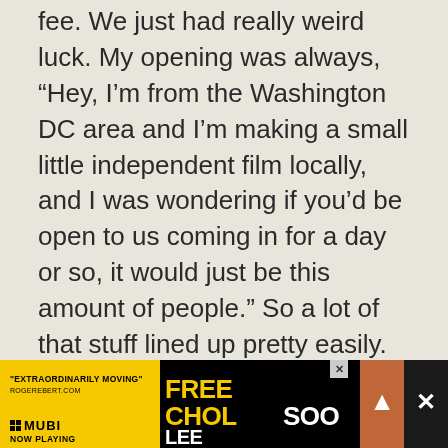fee. We just had really weird luck. My opening was always, “Hey, I’m from the Washington DC area and I’m making a small little independent film locally, and I was wondering if you’d be open to us coming in for a day or so, it would just be this amount of people.” So a lot of that stuff lined up pretty easily. But again, everyone from out of town was living together, either in the location itself, or for the second week we shot in December, we were sort of all over the place, we had to be out of that house so we rented a house for everyone to stay
[Figure (other): Advertisement banner for 'Free Chol Soo Lee' documentary on MUBI. Yellow and black banner with quote 'EXTRAORDINARILY MOVING' from RogerEbert.com. Text reads FREE CHOL SOO LEE in large bold font. MUBI logo with NOW PLAYING text on left side. Close and scroll buttons on right.]